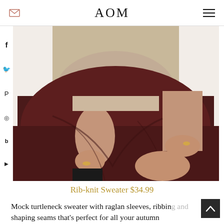AOM
[Figure (photo): A woman wearing a beige ribbed mock turtleneck sweater and a dark burgundy/maroon skirt, sitting with hands resting on her lap. Gold rings visible on fingers. Black boots at bottom.]
Rib-knit Sweater $34.99
Mock turtleneck sweater with raglan sleeves, ribbin... shaping seams that’s perfect for all your autumn